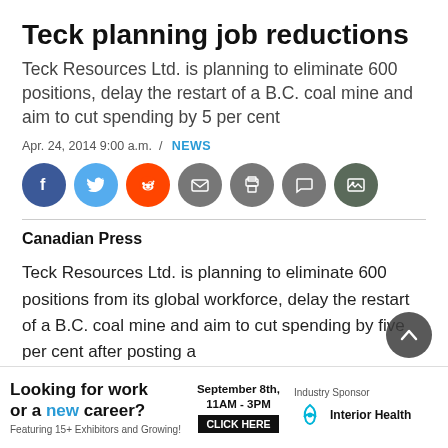Teck planning job reductions
Teck Resources Ltd. is planning to eliminate 600 positions, delay the restart of a B.C. coal mine and aim to cut spending by 5 per cent
Apr. 24, 2014 9:00 a.m. / NEWS
[Figure (infographic): Social media sharing icons: Facebook (blue), Twitter (light blue), Reddit (orange), Email (grey), Print (grey), Comment (grey), Gallery (dark grey)]
Canadian Press
Teck Resources Ltd. is planning to eliminate 600 positions from its global workforce, delay the restart of a B.C. coal mine and aim to cut spending by five per cent after posting a
[Figure (infographic): Advertisement banner: Looking for work or a new career? Featuring 15+ Exhibitors and Growing! September 8th, 11AM-3PM CLICK HERE. Industry Sponsor: Interior Health logo.]